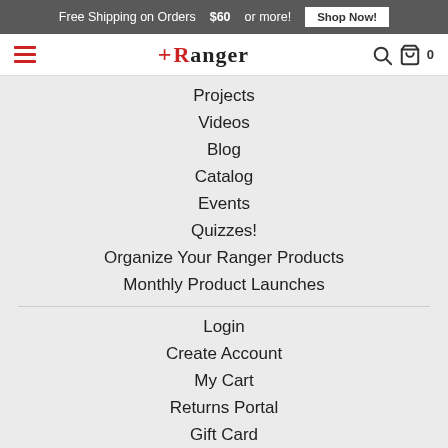Free Shipping on Orders $60 or more! Shop Now!
Ranger (logo with hamburger menu, search, cart 0)
Projects
Videos
Blog
Catalog
Events
Quizzes!
Organize Your Ranger Products
Monthly Product Launches
Login
Create Account
My Cart
Returns Portal
Gift Card
Loyalty Rewards!